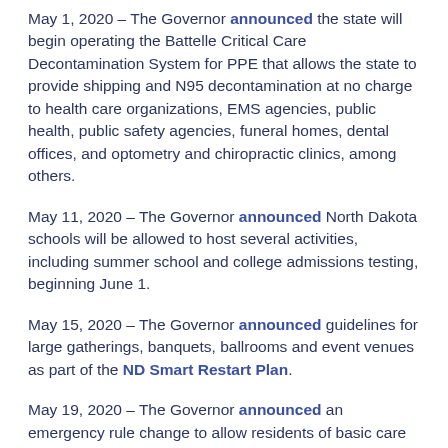May 1, 2020 – The Governor announced the state will begin operating the Battelle Critical Care Decontamination System for PPE that allows the state to provide shipping and N95 decontamination at no charge to health care organizations, EMS agencies, public health, public safety agencies, funeral homes, dental offices, and optometry and chiropractic clinics, among others.
May 11, 2020 – The Governor announced North Dakota schools will be allowed to host several activities, including summer school and college admissions testing, beginning June 1.
May 15, 2020 – The Governor announced guidelines for large gatherings, banquets, ballrooms and event venues as part of the ND Smart Restart Plan.
May 19, 2020 – The Governor announced an emergency rule change to allow residents of basic care facilities to keep the Economic Impact